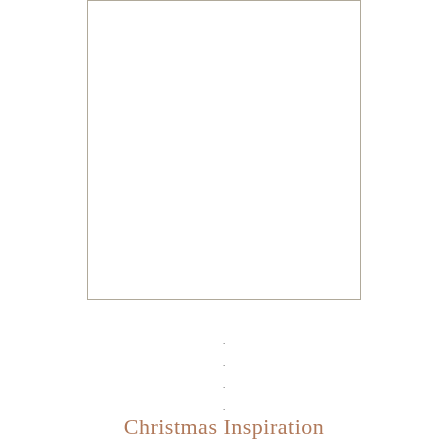[Figure (other): Large white rectangular box with a thin beige/tan border, occupying the upper portion of the page. The interior is blank/white.]
.
.
.
.
Christmas Inspiration